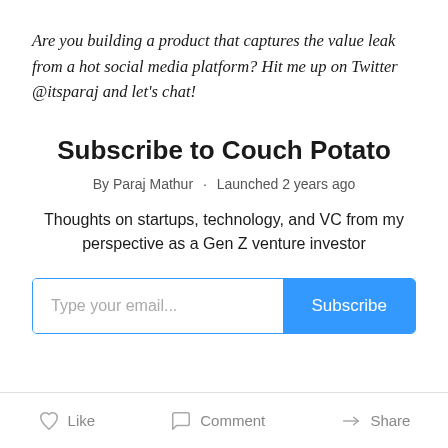Are you building a product that captures the value leak from a hot social media platform? Hit me up on Twitter @itsparaj and let's chat!
Subscribe to Couch Potato
By Paraj Mathur · Launched 2 years ago
Thoughts on startups, technology, and VC from my perspective as a Gen Z venture investor
[Figure (other): Email subscription form with text input 'Type your email...' and a blue 'Subscribe' button]
Like   Comment   Share